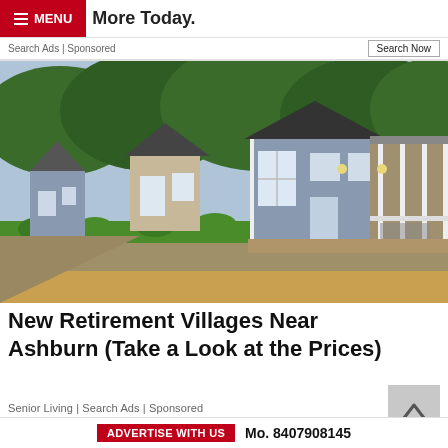More Today. MENU
Search Ads | Sponsored
[Figure (photo): Row of small blue and beige retirement village cottages with pitched roofs, porches, hedges, and trees in the background]
New Retirement Villages Near Ashburn (Take a Look at the Prices)
Senior Living | Search Ads | Sponsored
ADVERTISE WITH US  Mo. 8407908145